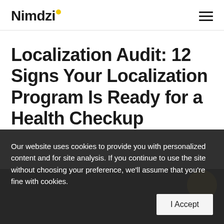Nimdzi
Localization Audit: 12 Signs Your Localization Program Is Ready for a Health Checkup
Our website uses cookies to provide you with personalized content and for site analysis. If you continue to use the site without choosing your preference, we'll assume that you're fine with cookies.